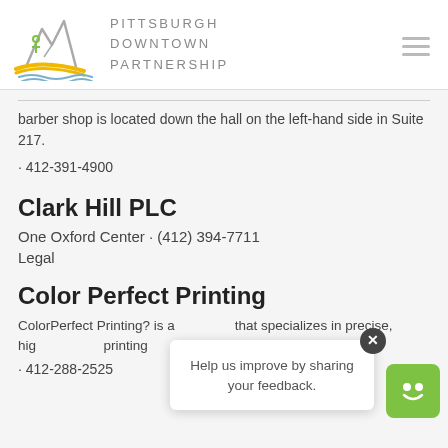PITTSBURGH DOWNTOWN PARTNERSHIP
barber shop is located down the hall on the left-hand side in Suite 217.
412-391-4900
Clark Hill PLC
One Oxford Center · (412) 394-7711
Legal
Color Perfect Printing
ColorPerfect Printing? is a that specializes in precise, high quality printing
412-288-2525